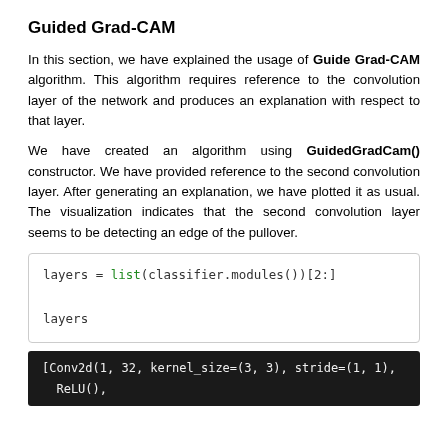Guided Grad-CAM
In this section, we have explained the usage of Guide Grad-CAM algorithm. This algorithm requires reference to the convolution layer of the network and produces an explanation with respect to that layer.
We have created an algorithm using GuidedGradCam() constructor. We have provided reference to the second convolution layer. After generating an explanation, we have plotted it as usual. The visualization indicates that the second convolution layer seems to be detecting an edge of the pullover.
[Conv2d(1, 32, kernel_size=(3, 3), stride=(1, 1),
  ReLU(),